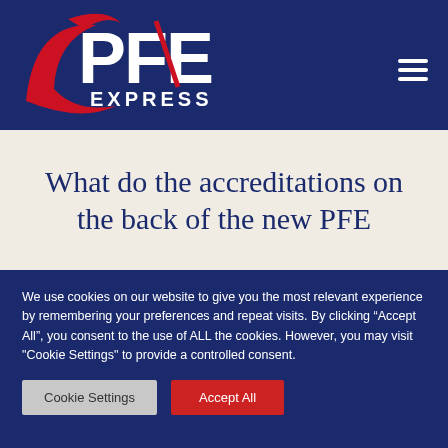[Figure (logo): PFE Express logo with red crescent/swoosh and white bold text PFE EXPRESS on navy background]
What do the accreditations on the back of the new PFE
We use cookies on our website to give you the most relevant experience by remembering your preferences and repeat visits. By clicking “Accept All”, you consent to the use of ALL the cookies. However, you may visit "Cookie Settings" to provide a controlled consent.